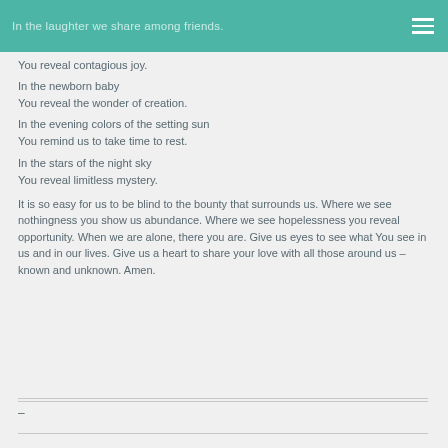In the laughter we share among friends.
You reveal contagious joy.
In the newborn baby
You reveal the wonder of creation.
In the evening colors of the setting sun
You remind us to take time to rest.
In the stars of the night sky
You reveal limitless mystery.
It is so easy for us to be blind to the bounty that surrounds us. Where we see nothingness you show us abundance. Where we see hopelessness you reveal opportunity. When we are alone, there you are. Give us eyes to see what You see in us and in our lives. Give us a heart to share your love with all those around us – known and unknown. Amen.
–